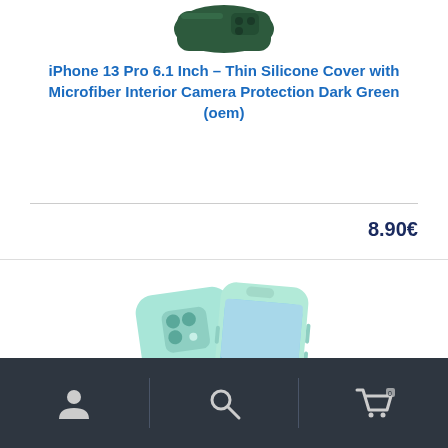[Figure (photo): Dark green iPhone 13 Pro silicone case, partially visible at top of card]
iPhone 13 Pro 6.1 Inch – Thin Silicone Cover with Microfiber Interior Camera Protection Dark Green (oem)
8.90€
[Figure (photo): Mint/light green iPhone 13 Pro silicone case shown from front and back angles]
User icon | Search icon | Cart icon navigation bar